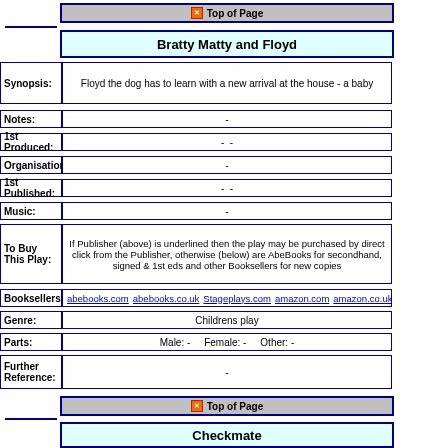Top of Page
Bratty Matty and Floyd
Synopsis: Floyd the dog has to learn with a new arrival at the house - a baby
Notes: -
1st Produced: - -
Organisations: -
1st Published: - -
Music: -
To Buy This Play: If Publisher (above) is underlined then the play may be purchased by direct click from the Publisher, otherwise (below) are AbeBooks for secondhand, signed & 1st eds and other Booksellers for new copies
Booksellers: abebooks.com abebooks.co.uk Stageplays.com amazon.com amazon.co.uk a...
Genre: Childrens play
Parts: Male: - Female: - Other: -
Further Reference: -
Top of Page
Checkmate
Synopsis: -